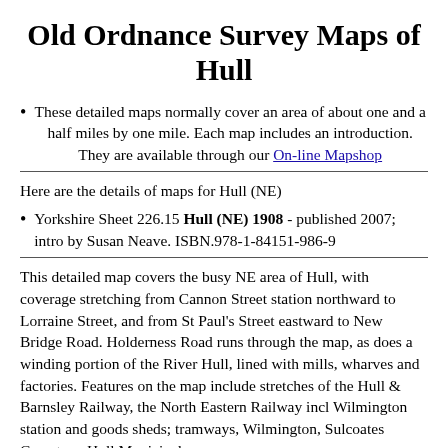Old Ordnance Survey Maps of Hull
These detailed maps normally cover an area of about one and a half miles by one mile. Each map includes an introduction. They are available through our On-line Mapshop
Here are the details of maps for Hull (NE)
Yorkshire Sheet 226.15 Hull (NE) 1908 - published 2007; intro by Susan Neave. ISBN.978-1-84151-986-9
This detailed map covers the busy NE area of Hull, with coverage stretching from Cannon Street station northward to Lorraine Street, and from St Paul's Street eastward to New Bridge Road. Holderness Road runs through the map, as does a winding portion of the River Hull, lined with mills, wharves and factories. Features on the map include stretches of the Hull & Barnsley Railway, the North Eastern Railway incl Wilmington station and goods sheds; tramways, Wilmington, Sulcoates Cemetery, Hull Municipal